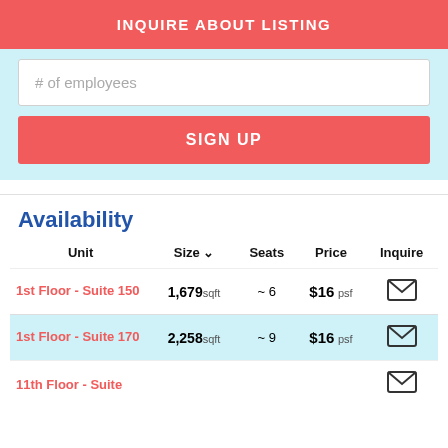INQUIRE ABOUT LISTING
# of employees
SIGN UP
Availability
| Unit | Size ˅ | Seats | Price | Inquire |
| --- | --- | --- | --- | --- |
| 1st Floor - Suite 150 | 1,679 sqft | ~ 6 | $16 psf | ✉ |
| 1st Floor - Suite 170 | 2,258 sqft | ~ 9 | $16 psf | ✉ |
| 11th Floor - Suite |  |  |  | ✉ |